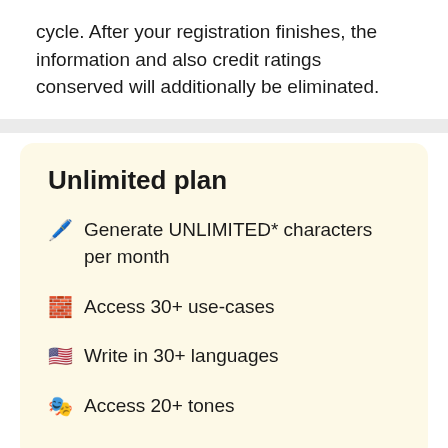cycle. After your registration finishes, the information and also credit ratings conserved will additionally be eliminated.
Unlimited plan
Generate UNLIMITED* characters per month
Access 30+ use-cases
Write in 30+ languages
Access 20+ tones